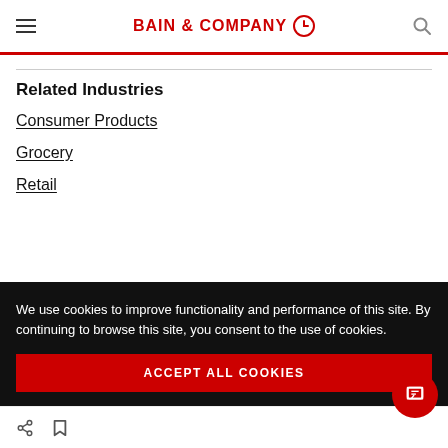BAIN & COMPANY
Related Industries
Consumer Products
Grocery
Retail
We use cookies to improve functionality and performance of this site. By continuing to browse this site, you consent to the use of cookies.
ACCEPT ALL COOKIES